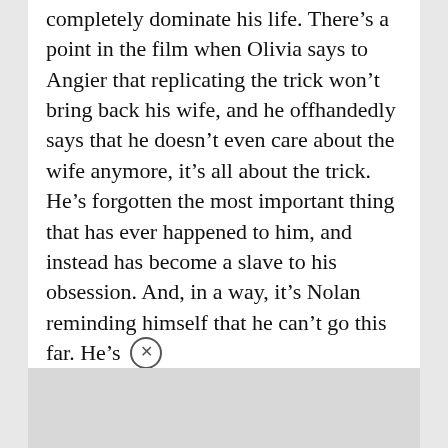completely dominate his life. There's a point in the film when Olivia says to Angier that replicating the trick won't bring back his wife, and he offhandedly says that he doesn't even care about the wife anymore, it's all about the trick. He's forgotten the most important thing that has ever happened to him, and instead has become a slave to his obsession. And, in a way, it's Nolan reminding himself that he can't go this far. He's
Advertisements